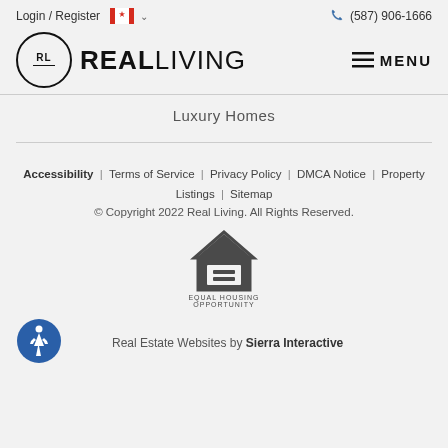Login / Register  (587) 906-1666
[Figure (logo): Real Living logo with RL circle emblem and REALLIVING wordmark]
Luxury Homes
Accessibility | Terms of Service | Privacy Policy | DMCA Notice | Property Listings | Sitemap
© Copyright 2022 Real Living. All Rights Reserved.
[Figure (logo): Equal Housing Opportunity logo]
Real Estate Websites by Sierra Interactive